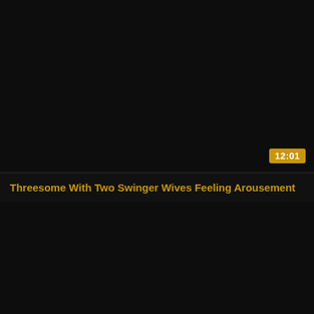[Figure (screenshot): Dark video thumbnail placeholder for first video card]
12:01
Threesome With Two Swinger Wives Feeling Arousement
[Figure (screenshot): Dark video thumbnail placeholder for second video card, partially visible, with partial duration badge]